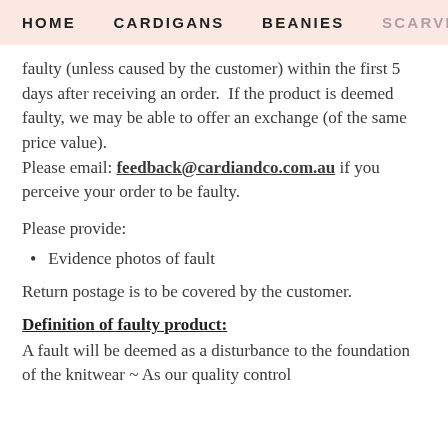HOME   CARDIGANS   BEANIES   SCARVES
faulty (unless caused by the customer) within the first 5 days after receiving an order.  If the product is deemed faulty, we may be able to offer an exchange (of the same price value). Please email: feedback@cardiandco.com.au if you perceive your order to be faulty.
Please provide:
Evidence photos of fault
Return postage is to be covered by the customer.
Definition of faulty product:
A fault will be deemed as a disturbance to the foundation of the knitwear ~ As our quality control